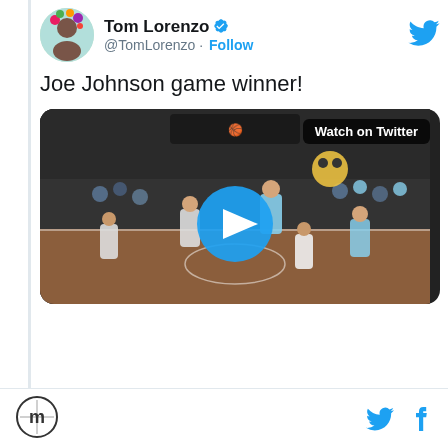Tom Lorenzo @TomLorenzo · Follow
Joe Johnson game winner!
[Figure (screenshot): Basketball game video thumbnail with play button overlay and 'Watch on Twitter' badge in top right corner]
Footer with logo, Twitter bird icon and Facebook icon